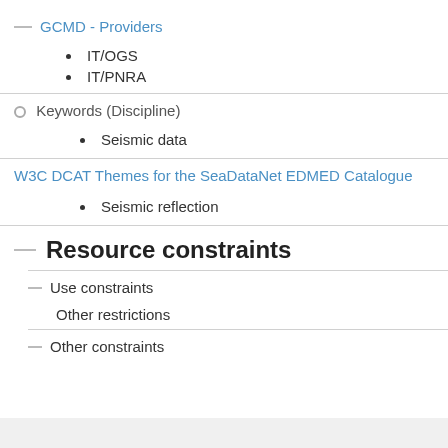GCMD - Providers
IT/OGS
IT/PNRA
Keywords (Discipline)
Seismic data
W3C DCAT Themes for the SeaDataNet EDMED Catalogue
Seismic reflection
Resource constraints
Use constraints
Other restrictions
Other constraints